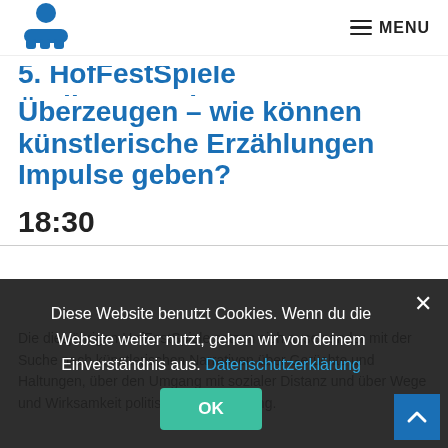MENU
5. HofFestSpiele Badingspruch Überzeugen – wie können künstlerische Erzählungen Impulse geben?
18:30
Die diesjährigen HofFestSpiele setzen sich auseinander mit der Suche nach künstlerischen Narrativen über Gerüchte und Haltungen, über den Umgang mit sozialer Distanz und über Wege und Wirksamkeit politischer Einmischung.
Diese Website benutzt Cookies. Wenn du die Website weiter nutzt, gehen wir von deinem Einverständnis aus. Datenschutzerklärung